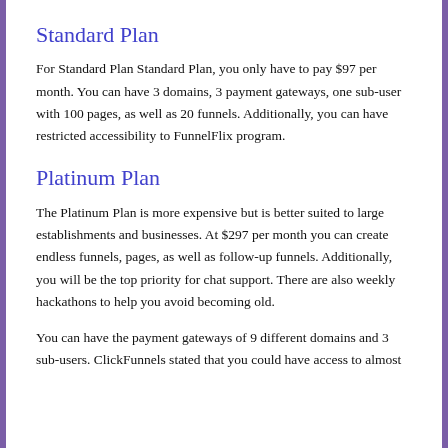Standard Plan
For Standard Plan Standard Plan, you only have to pay $97 per month. You can have 3 domains, 3 payment gateways, one sub-user with 100 pages, as well as 20 funnels. Additionally, you can have restricted accessibility to FunnelFlix program.
Platinum Plan
The Platinum Plan is more expensive but is better suited to large establishments and businesses. At $297 per month you can create endless funnels, pages, as well as follow-up funnels. Additionally, you will be the top priority for chat support. There are also weekly hackathons to help you avoid becoming old.
You can have the payment gateways of 9 different domains and 3 sub-users. ClickFunnels stated that you could have access to almost